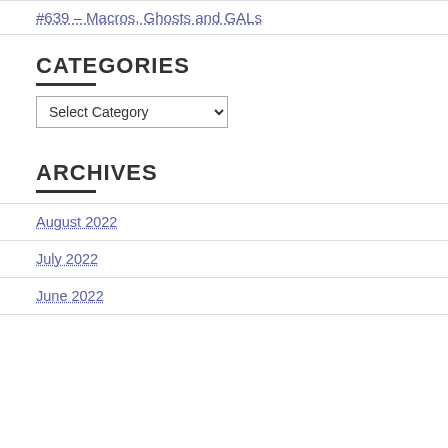#639 – Macros, Ghosts and GALs
CATEGORIES
Select Category (dropdown)
ARCHIVES
August 2022
July 2022
June 2022